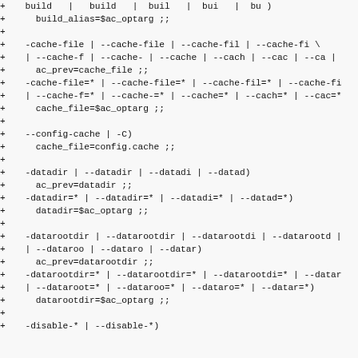Code diff showing shell script options for build_alias, cache-file, config-cache, datadir, and datarootdir configuration options
[Figure (screenshot): Diff/patch view of a shell configure script showing lines with + prefix listing command-line option patterns for build_alias, cache-file, config-cache, datadir, and datarootdir options with their abbreviated forms and variable assignments]